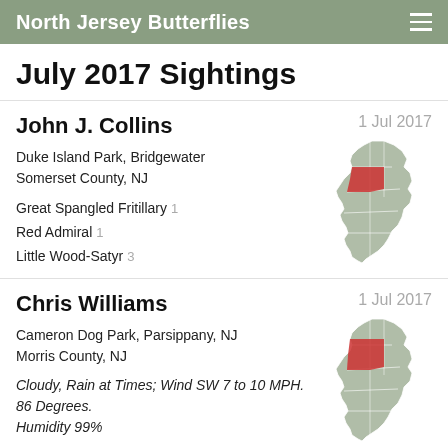North Jersey Butterflies
July 2017 Sightings
John J. Collins — 1 Jul 2017
Duke Island Park, Bridgewater
Somerset County, NJ
Great Spangled Fritillary  1
Red Admiral  1
Little Wood-Satyr  3
[Figure (map): Outline map of New Jersey with a red county highlight in the central-north area (Somerset County)]
Chris Williams — 1 Jul 2017
Cameron Dog Park, Parsippany, NJ
Morris County, NJ
Cloudy, Rain at Times; Wind SW 7 to 10 MPH. 86 Degrees. Humidity 99%
Cabbage White  9
[Figure (map): Outline map of New Jersey with a red county highlight in the north-central area (Morris County)]